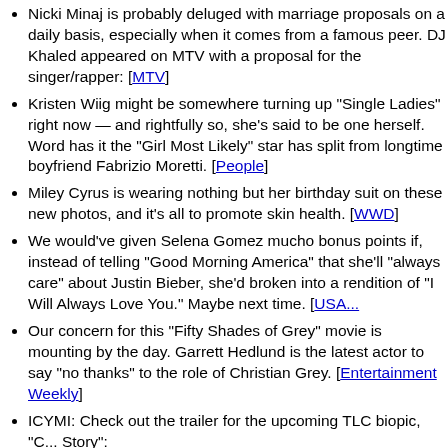Nicki Minaj is probably deluged with marriage proposals on a daily basis, especially when it comes from a famous peer. DJ Khaled appeared on MTV with a proposal for the singer/rapper: [MTV]
Kristen Wiig might be somewhere turning up "Single Ladies" right now — and rightfully so, she's said to be one herself. Word has it the "Girl Most Likely" star has split from longtime boyfriend Fabrizio Moretti. [People]
Miley Cyrus is wearing nothing but her birthday suit on these new photos, and it's all to promote skin health. [WWD]
We would've given Selena Gomez mucho bonus points if, instead of telling "Good Morning America" that she'll "always care" about Justin Bieber, she'd broken into a rendition of "I Will Always Love You." Maybe next time. [USA...]
Our concern for this "Fifty Shades of Grey" movie is mounting by the day. Garrett Hedlund is the latest actor to say "no thanks" to the role of Christian Grey. [Entertainment Weekly]
ICYMI: Check out the trailer for the upcoming TLC biopic, "C... Story":